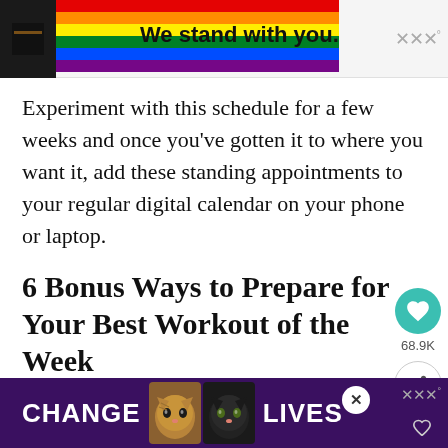[Figure (screenshot): Advertisement banner at top: rainbow flag colors with text 'We stand with you.' and a logo mark in grey on the right.]
Experiment with this schedule for a few weeks and once you've gotten it to where you want it, add these standing appointments to your regular digital calendar on your phone or laptop.
6 Bonus Ways to Prepare for Your Best Workout of the Week
It's so easy in our busy lives to start our day w...no up
[Figure (screenshot): Advertisement banner at bottom: purple background with cat photos, 'CHANGE LIVES' text in white, close X button, and logo mark.]